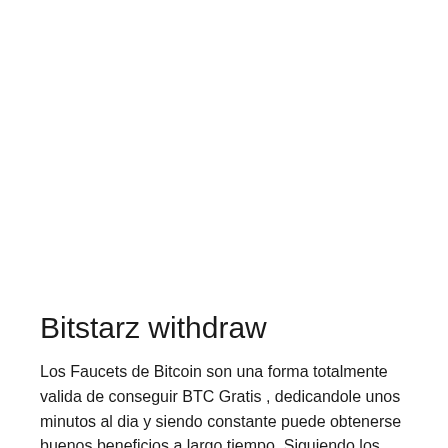Bitstarz withdraw
Los Faucets de Bitcoin son una forma totalmente valida de conseguir BTC Gratis , dedicandole unos minutos al dia y siendo constante puede obtenerse buenos beneficios a largo tiempo. Siguiendo los